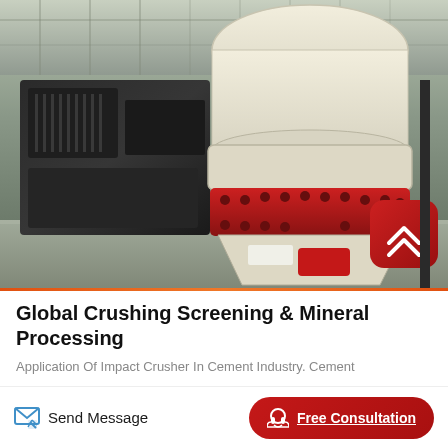[Figure (photo): Industrial cone crusher machine with black electric motor on left and cream/white cone crusher body with red ring flange on right, inside an industrial building with concrete wall and metal roof structure. Red scroll-to-top button visible in lower right of image.]
Global Crushing Screening & Mineral Processing
Application Of Impact Crusher In Cement Industry. Cement